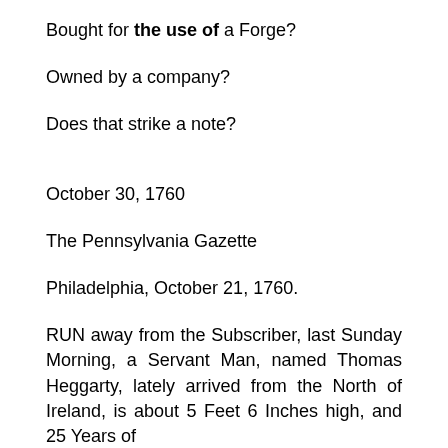Bought for the use of a Forge?
Owned by a company?
Does that strike a note?
October 30, 1760
The Pennsylvania Gazette
Philadelphia, October 21, 1760.
RUN away from the Subscriber, last Sunday Morning, a Servant Man, named Thomas Heggarty, lately arrived from the North of Ireland, is about 5 Feet 6 Inches high, and 25 Years of